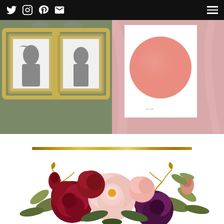Navigation bar with social icons (Twitter, Instagram, Pinterest, Email) and hamburger menu
[Figure (photo): Two ornate gold-framed silhouette portraits (girl and boy profiles) hanging on an olive/sage green wall]
[Figure (photo): Pink art print with a large coral/salmon watercolor circle on white background, displayed against pink fabric backdrop]
[Figure (illustration): Watercolor floral bouquet with burgundy, deep red, blush pink peonies/roses and green foliage with gold branches]